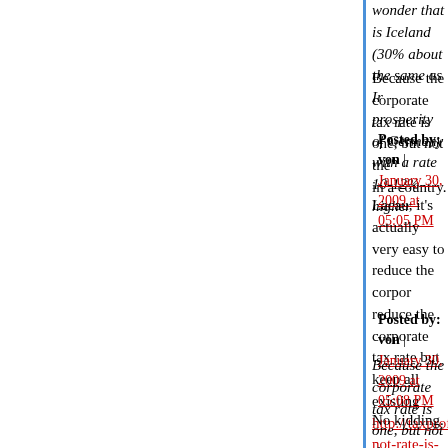wonder that is Iceland (30% about the same as Ir... prosperity of Germany with a rate 10-12% higher
Because the corporate tax rate is one, but not the... in a country.
Posted by: von | January 30, 2009 at 05:05 PM
Lacau, it's actually very easy to reduce the corpor... reduce the corporate tax rate but keep all existing... http://taxprof.typepad.com/taxprof_blog/2008/10/c... not-rate-is-key-metric.html)
Posted by: von | January 30, 2009 at 05:08 PM
Because the corporate tax rate is one, but not the... in a country.
No kidding.
But again, the US corporate tax rate is very low.
(There are almost certainly some efficiency gains... course, but lowering it further - not so much.)